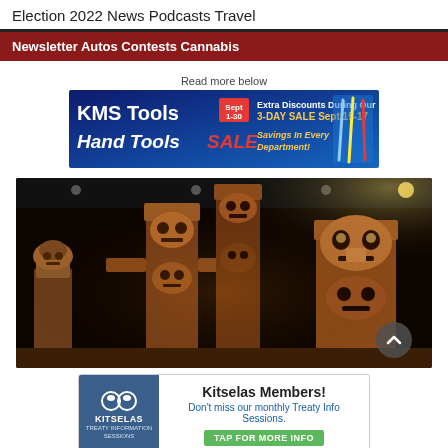Election 2022   News   Podcasts   Travel
Newsletter   Autos   Contests   Cannabis
Read more below
[Figure (photo): KMS Tools Hand Tools SALE advertisement banner - Extra Discounts During Our 3-DAY SALE Sept 15-17, Savings In Every Department!]
[Figure (photo): Indoor museum display of tall Indigenous totem poles carved from wood, shown against a dark ceiling with spotlights]
[Figure (photo): Kitselas Members advertisement - Don't miss our monthly Treaty Info Sessions. TAP FOR MORE INFO]